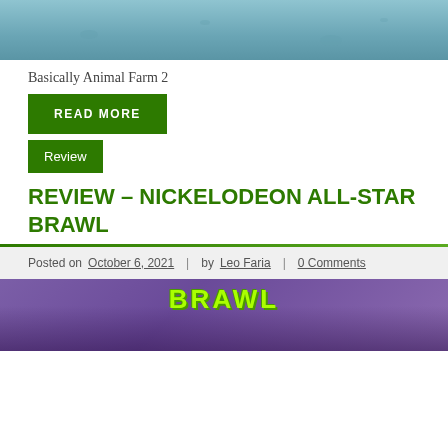[Figure (illustration): Top portion of an illustrated image showing a blue/teal underwater or cartoon scene with spots and tentacle-like shapes]
Basically Animal Farm 2
READ MORE
Review
REVIEW – NICKELODEON ALL-STAR BRAWL
Posted on October 6, 2021 | by Leo Faria | 0 Comments
[Figure (illustration): Bottom portion showing the Nickelodeon All-Star Brawl game promotional image with colorful cartoon characters on a purple background with BRAWL text in green]